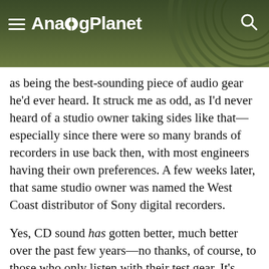AnalogPlanet
as being the best-sounding piece of audio gear he'd ever heard. It struck me as odd, as I'd never heard of a studio owner taking sides like that—especially since there were so many brands of recorders in use back then, with most engineers having their own preferences. A few weeks later, that same studio owner was named the West Coast distributor of Sony digital recorders.
Yes, CD sound has gotten better, much better over the past few years—no thanks, of course, to those who only listen with their test gear. It's become tolerable, listenable, and at least musically credible, but enjoyable? Call me an extremist (no problem!),